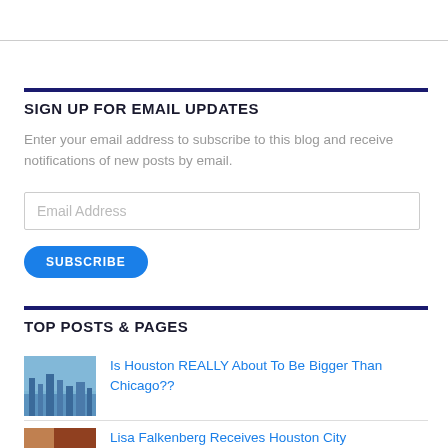SIGN UP FOR EMAIL UPDATES
Enter your email address to subscribe to this blog and receive notifications of new posts by email.
Email Address
SUBSCRIBE
TOP POSTS & PAGES
[Figure (photo): Thumbnail photo of Houston city skyline]
Is Houston REALLY About To Be Bigger Than Chicago??
[Figure (photo): Thumbnail photo related to Lisa Falkenberg article]
Lisa Falkenberg Receives Houston City